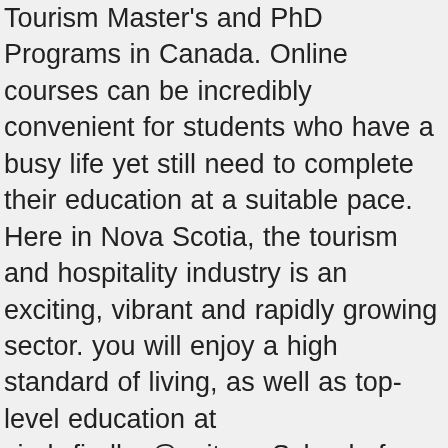Tourism Master's and PhD Programs in Canada. Online courses can be incredibly convenient for students who have a busy life yet still need to complete their education at a suitable pace. Here in Nova Scotia, the tourism and hospitality industry is an exciting, vibrant and rapidly growing sector. you will enjoy a high standard of living, as well as top-level education at cindy.findlay@sait.ca. School of Hospitality and Tourism403.284.8612 hospitality.info@sait.caa. Get important updates about our food and hospitality programs. We're available online: Monday - Friday 8:30 am - 4:15 pm (Wednesdays open at 9 am). General inquiries: 1.877.284.7248 Student Inquiries: Start here. Centennial College's Tourism diploma program will prepare you for an industry that Tourism HR Canada projects will grow to 2.1 million jobs, exposing a labour and skills shortage in more than 400 types of tourism industry jobs and careers. In your capstone course, you will have the opportunity to work collaboratively with industry partners as you strategically solve a real-world challenge with a comprehensive business